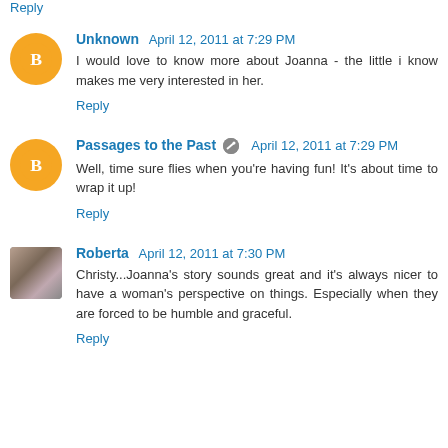Reply
Unknown April 12, 2011 at 7:29 PM
I would love to know more about Joanna - the little i know makes me very interested in her.
Reply
Passages to the Past April 12, 2011 at 7:29 PM
Well, time sure flies when you're having fun! It's about time to wrap it up!
Reply
Roberta April 12, 2011 at 7:30 PM
Christy...Joanna's story sounds great and it's always nicer to have a woman's perspective on things. Especially when they are forced to be humble and graceful.
Reply